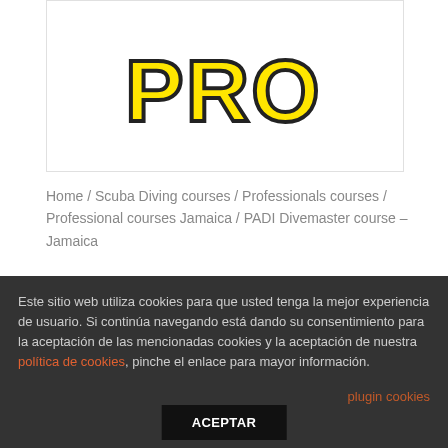[Figure (logo): Partial PRO logo in yellow with black outline, cropped at top of page inside a white box with border]
Home / Scuba Diving courses / Professionals courses / Professional courses Jamaica / PADI Divemaster course – Jamaica
PADI Divemaster course – Jamaica
Este sitio web utiliza cookies para que usted tenga la mejor experiencia de usuario. Si continúa navegando está dando su consentimiento para la aceptación de las mencionadas cookies y la aceptación de nuestra política de cookies, pinche el enlace para mayor información.
plugin cookies
ACEPTAR